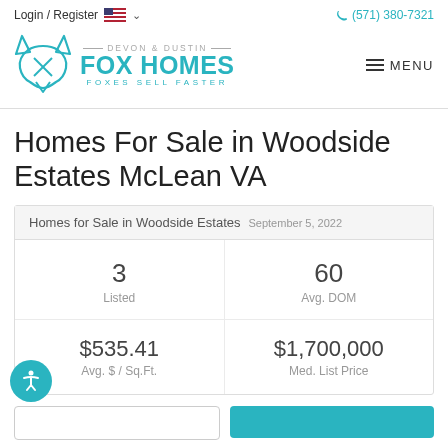Login / Register  (571) 380-7321
[Figure (logo): Devon & Dustin Fox Homes logo with teal fox icon and tagline FOXES SELL FASTER]
Homes For Sale in Woodside Estates McLean VA
|  |  |
| --- | --- |
| 3 Listed | 60 Avg. DOM |
| $535.41 Avg. $ / Sq.Ft. | $1,700,000 Med. List Price |